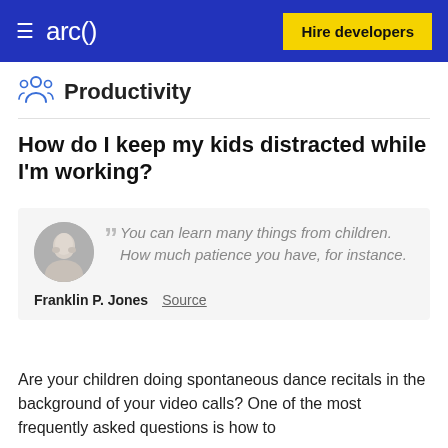arc()  Hire developers
Productivity
How do I keep my kids distracted while I'm working?
"You can learn many things from children. How much patience you have, for instance." — Franklin P. Jones  Source
Are your children doing spontaneous dance recitals in the background of your video calls? One of the most frequently asked questions is how to